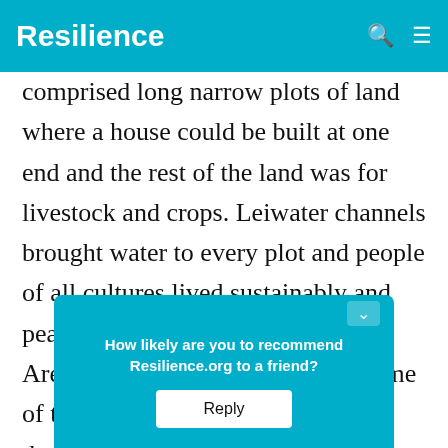Resilience
comprised long narrow plots of land where a house could be built at one end and the rest of the land was for livestock and crops. Leiwater channels brought water to every plot and people of all cultures lived sustainably and peacefully side by side.  The Group Areas Act of the 1950s declared some of those people, with a darker skin than the others, to be 'coloured' and they are to be removed where they w an
How likely are you to recommend Resilience.org to a friend?
Reply